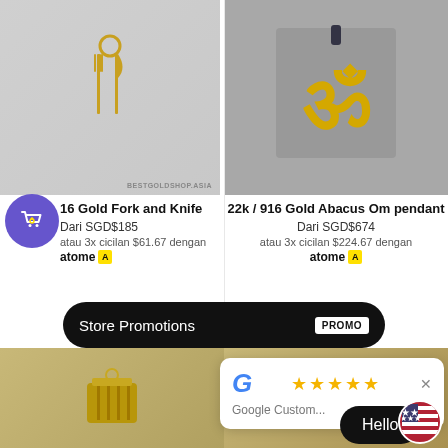[Figure (photo): Gold fork and knife charm pendant on light gray fabric background with BESTGOLDSHOP.ASIA watermark]
[Figure (photo): 22k/916 Gold Abacus Om pendant on gray fabric display]
16 Gold Fork and Knife
Dari SGD$185
atau 3x cicilan $61.67 dengan
atome A
22k / 916 Gold Abacus Om pendant
Dari SGD$674
atau 3x cicilan $224.67 dengan
atome A
[Figure (screenshot): Store Promotions banner overlay (black pill shape) with PROMO badge]
[Figure (photo): Bottom left gold charm product image]
[Figure (photo): Bottom right gold charm product image]
[Figure (screenshot): Google Customer review popup with 5 stars and close button]
Hello
[Figure (illustration): US flag circle icon]